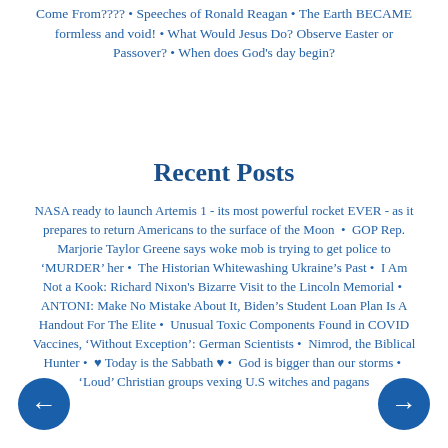Come From???? • Speeches of Ronald Reagan • The Earth BECAME formless and void! • What Would Jesus Do? Observe Easter or Passover? • When does God's day begin?
Recent Posts
NASA ready to launch Artemis 1 - its most powerful rocket EVER - as it prepares to return Americans to the surface of the Moon • GOP Rep. Marjorie Taylor Greene says woke mob is trying to get police to 'MURDER' her • The Historian Whitewashing Ukraine's Past • I Am Not a Kook: Richard Nixon's Bizarre Visit to the Lincoln Memorial • ANTONI: Make No Mistake About It, Biden's Student Loan Plan Is A Handout For The Elite • Unusual Toxic Components Found in COVID Vaccines, 'Without Exception': German Scientists • Nimrod, the Biblical Hunter • ♥ Today is the Sabbath ♥ • God is bigger than our storms • 'Loud' Christian groups vexing U.S witches and pagans